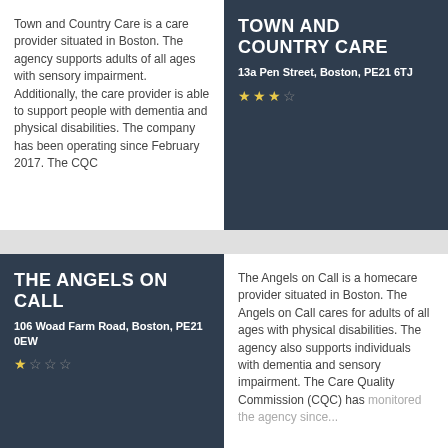Town and Country Care is a care provider situated in Boston. The agency supports adults of all ages with sensory impairment. Additionally, the care provider is able to support people with dementia and physical disabilities. The company has been operating since February 2017. The CQC
TOWN AND COUNTRY CARE
13a Pen Street, Boston, PE21 6TJ
★★★☆
THE ANGELS ON CALL
106 Woad Farm Road, Boston, PE21 0EW
★☆☆☆
The Angels on Call is a homecare provider situated in Boston. The Angels on Call cares for adults of all ages with physical disabilities. The agency also supports individuals with dementia and sensory impairment. The Care Quality Commission (CQC) has monitored the agency since...